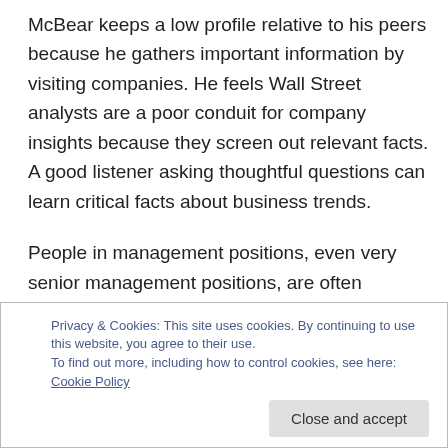McBear keeps a low profile relative to his peers because he gathers important information by visiting companies. He feels Wall Street analysts are a poor conduit for company insights because they screen out relevant facts. A good listener asking thoughtful questions can learn critical facts about business trends.
People in management positions, even very senior management positions, are often completely wrong about the fortunes of their own companies. More important, in making these misjudgements, they almost always err on
Privacy & Cookies: This site uses cookies. By continuing to use this website, you agree to their use.
To find out more, including how to control cookies, see here: Cookie Policy